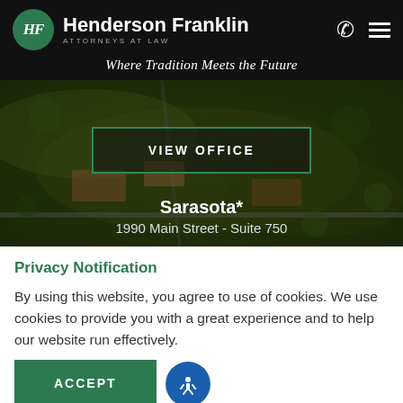Henderson Franklin ATTORNEYS AT LAW
Where Tradition Meets the Future
[Figure (photo): Aerial photograph of a building complex surrounded by trees, used as hero background image]
VIEW OFFICE
Sarasota*
1990 Main Street - Suite 750
Privacy Notification
By using this website, you agree to use of cookies. We use cookies to provide you with a great experience and to help our website run effectively.
ACCEPT